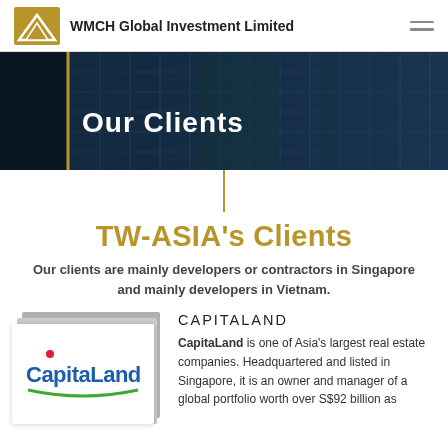WMCH Global Investment Limited
[Figure (photo): Hero banner showing modern glass building facade with 'Our Clients' title overlay]
TW-ASIA's Clients
Our clients are mainly developers or contractors in Singapore and mainly developers in Vietnam.
[Figure (logo): CapitaLand company logo]
CAPITALAND
CapitaLand is one of Asia's largest real estate companies. Headquartered and listed in Singapore, it is an owner and manager of a global portfolio worth over S$92 billion as